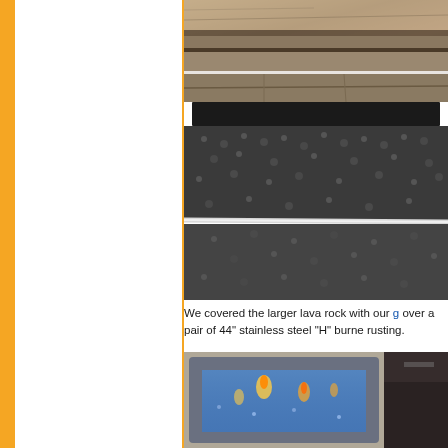[Figure (photo): Close-up photo of stone/slate firepit surround with granite or stone slabs visible from above, brown and reddish tones]
[Figure (photo): Photo of lava rock covering with a long black rectangular burner cover and white metal H-burner pipe visible running across dark lava rocks]
We covered the larger lava rock with our g... over a pair of 44" stainless steel "H" burne... rusting.
[Figure (photo): Photo of completed fire pit with blue fire glass and flames visible, surrounded by stone edging, viewed from above at an angle]
[Figure (photo): Partial photo on right side, dark interior scene]